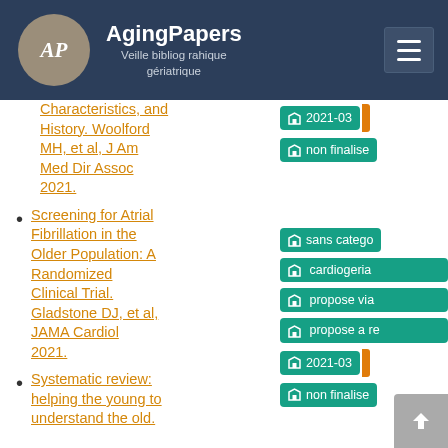AgingPapers – Veille bibliographique gériatrique
Characteristics, and History. Woolford MH, et al, J Am Med Dir Assoc 2021.
Screening for Atrial Fibrillation in the Older Population: A Randomized Clinical Trial. Gladstone DJ, et al, JAMA Cardiol 2021.
Systematic review: helping the young to understand the old.